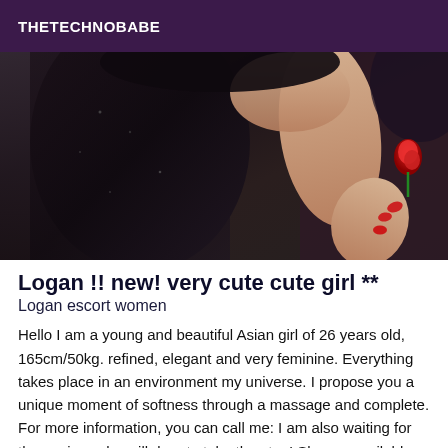THETECHNOBABE
[Figure (photo): Photo of a person in a black dress holding a red flower/rose, dark moody background]
Logan !! new! very cute cute girl **
Logan escort women
Hello I am a young and beautiful Asian girl of 26 years old, 165cm/50kg. refined, elegant and very feminine. Everything takes place in an environment my universe. I propose you a unique moment of softness through a massage and complete. For more information, you can call me: I am also waiting for the seniors who will dare to take the step! Shower available before or after. Schedule